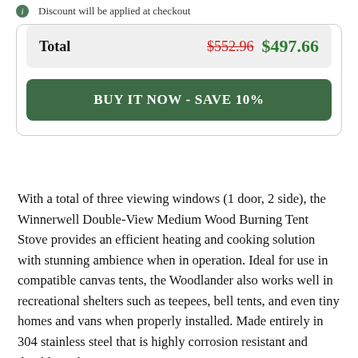Discount will be applied at checkout
| Total |  |  |
| --- | --- | --- |
| Total | $552.96 | $497.66 |
BUY IT NOW - SAVE 10%
With a total of three viewing windows (1 door, 2 side), the Winnerwell Double-View Medium Wood Burning Tent Stove provides an efficient heating and cooking solution with stunning ambience when in operation. Ideal for use in compatible canvas tents, the Woodlander also works well in recreational shelters such as teepees, bell tents, and even tiny homes and vans when properly installed. Made entirely in 304 stainless steel that is highly corrosion resistant and durable with